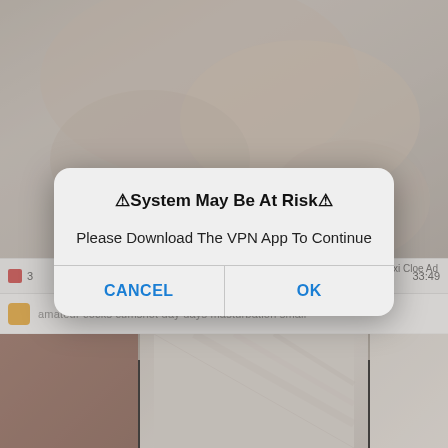[Figure (screenshot): Mobile browser screenshot showing adult content website with a system alert dialog overlay. The dialog reads: '⚠System May Be At Risk⚠ / Please Download The VPN App To Continue' with CANCEL and OK buttons. Background shows blurred adult video thumbnail, a page bar with timestamp 33:49, tags including 'amateur cocks cumshot day days masturbation small', and partial thumbnails at bottom.]
⚠System May Be At Risk⚠
Please Download The VPN App To Continue